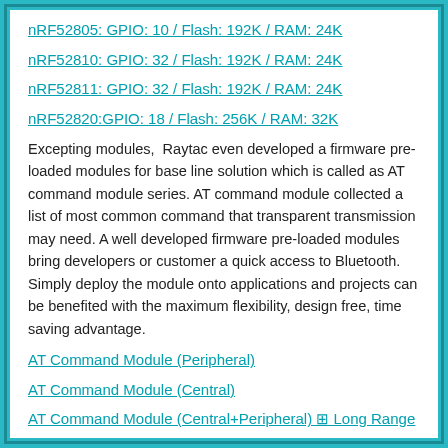nRF52805: GPIO: 10 / Flash: 192K / RAM: 24K
nRF52810: GPIO: 32 / Flash: 192K / RAM: 24K
nRF52811: GPIO: 32 / Flash: 192K / RAM: 24K
nRF52820:GPIO: 18 / Flash: 256K / RAM: 32K
Excepting modules,  Raytac even developed a firmware pre-loaded modules for base line solution which is called as AT command module series. AT command module collected a list of most common command that transparent transmission may need. A well developed firmware pre-loaded modules bring developers or customer a quick access to Bluetooth. Simply deploy the module onto applications and projects can be benefited with the maximum flexibility, design free, time saving advantage.
AT Command Module (Peripheral)
AT Command Module (Central)
AT Command Module (Central+Peripheral) ⊠ Long Range